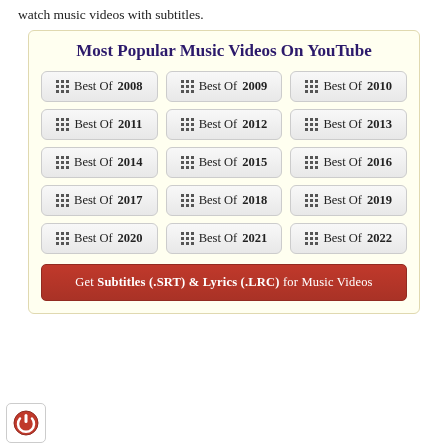watch music videos with subtitles.
Most Popular Music Videos On YouTube
Best Of 2008
Best Of 2009
Best Of 2010
Best Of 2011
Best Of 2012
Best Of 2013
Best Of 2014
Best Of 2015
Best Of 2016
Best Of 2017
Best Of 2018
Best Of 2019
Best Of 2020
Best Of 2021
Best Of 2022
Get Subtitles (.SRT) & Lyrics (.LRC) for Music Videos
[Figure (logo): Red power button icon in bottom left corner]